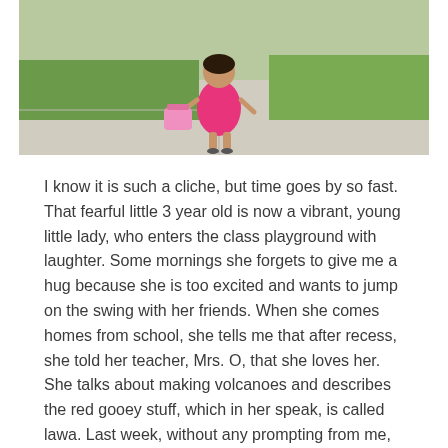[Figure (photo): A young girl in a pink dress standing on a sidewalk, holding a pink lunch box or bag. Green grass is visible in the background.]
I know it is such a cliche, but time goes by so fast. That fearful little 3 year old is now a vibrant, young little lady, who enters the class playground with laughter. Some mornings she forgets to give me a hug because she is too excited and wants to jump on the swing with her friends. When she comes homes from school, she tells me that after recess, she told her teacher, Mrs. O, that she loves her. She talks about making volcanoes and describes the red gooey stuff, which in her speak, is called lawa. Last week, without any prompting from me, she wrote